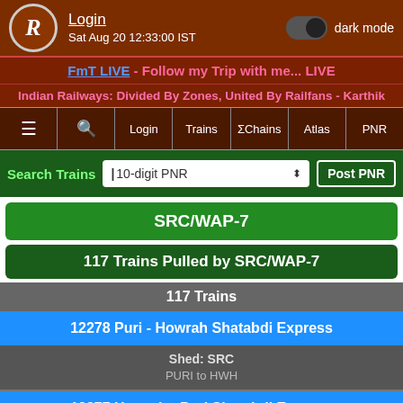[Figure (screenshot): Indian Railways mobile app screenshot showing SRC/WAP-7 locomotive search results with train listings]
Login  Sat Aug 20 12:33:00 IST  dark mode
FmT LIVE - Follow my Trip with me... LIVE
Indian Railways: Divided By Zones, United By Railfans - Karthik
≡  🔍  Login  Trains  ΣChains  Atlas  PNR
Search Trains  |10-digit PNR ⬍  Post PNR
SRC/WAP-7
117 Trains Pulled by SRC/WAP-7
117 Trains
12278 Puri - Howrah Shatabdi Express
Shed: SRC
PURI to HWH
12277 Howrah - Puri Shatabdi Express
Shed: SRC
Scroll to